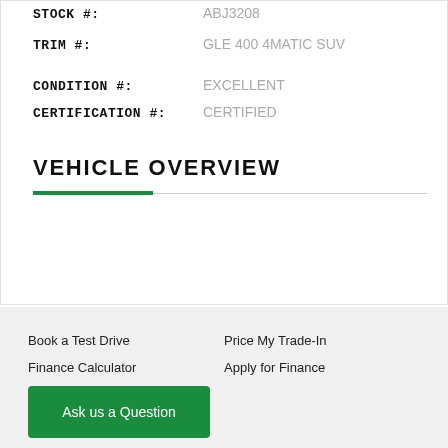STOCK #: ABJ3208
TRIM #: GLE 400 4MATIC SUV
CONDITION #: EXCELLENT
CERTIFICATION #: CERTIFIED
VEHICLE OVERVIEW
Book a Test Drive
Price My Trade-In
Finance Calculator
Apply for Finance
Ask us a Question